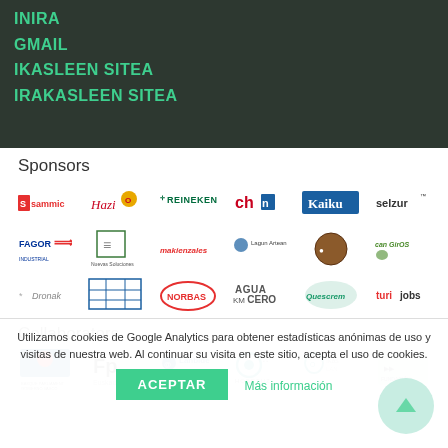INIRA
GMAIL
IKASLEEN SITEA
IRAKASLEEN SITEA
Sponsors
[Figure (logo): Sponsors logos grid: Sammic, Hazi (red script), Heineken, CH (red/blue), Kaiku, Selzur, Fagor, Nuevas Soluciones, makienzales, Lagun Artean, (brown circular), Can Girgos, Dronak, (blue grid logo), Norbas, Agua KM Cero, Quescrem, Turijobs]
Collaborators
[Figure (logo): Collaborators logos grid: Basque Government (Gobierno Vasco), FP Euskadi, Lanbide, Hobetuz, IkasLan, (right-most logo)]
Utilizamos cookies de Google Analytics para obtener estadísticas anónimas de uso y visitas de nuestra web. Al continuar su visita en este sitio, acepta el uso de cookies.
ACEPTAR
Más información